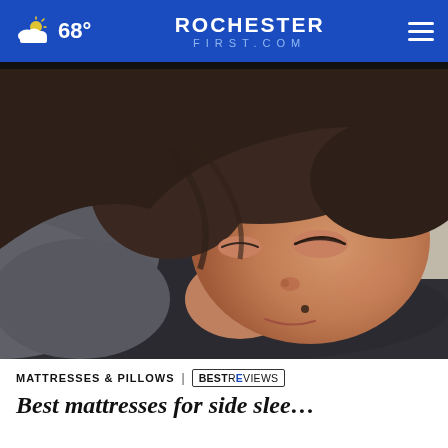68° ROCHESTERFIRST.COM
[Figure (photo): Close-up photo of a young person sleeping on a pillow, wearing a gray shirt, with white bedding in the background.]
MATTRESSES & PILLOWS | BESTREVIEWS
Best mattresses for side slee...